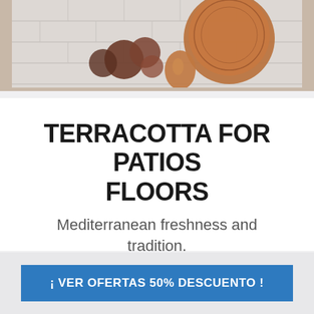[Figure (photo): Decorative photo showing copper/bronze Moroccan lantern and dried floral decorations on a light stone tile surface background]
TERRACOTTA FOR PATIOS FLOORS
Mediterranean freshness and tradition.
Natural terracotta tile is one of our
¡ VER OFERTAS 50% DESCUENTO !